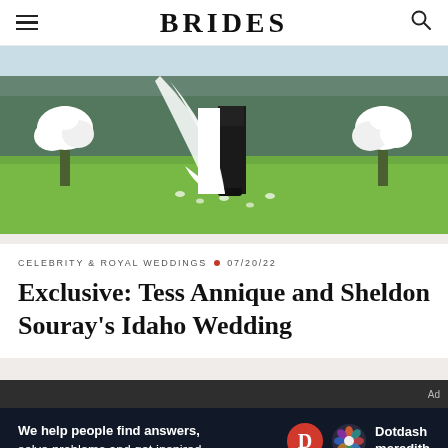BRIDES
[Figure (photo): Outdoor wedding ceremony photo showing bride in white gown with long veil and groom in dark suit standing on green grass lawn, with white floral arrangements on each side and trees in background.]
CELEBRITY & ROYAL WEDDINGS • 07/20/22
Exclusive: Tess Annique and Sheldon Souray's Idaho Wedding
Ad
We help people find answers, solve problems and get inspired. Dotdash meredith